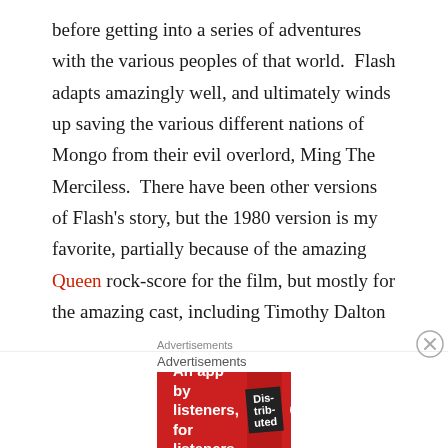before getting into a series of adventures with the various peoples of that world.  Flash adapts amazingly well, and ultimately winds up saving the various different nations of Mongo from their evil overlord, Ming The Merciless.  There have been other versions of Flash's story, but the 1980 version is my favorite, partially because of the amazing Queen rock-score for the film, but mostly for the amazing cast, including Timothy Dalton as Prince Barin, Max von Sydow as Ming, and the amazing Brian Blessed as Prince Vultan:
Advertisements
Advertisements
[Figure (other): Red advertisement banner for Pocket Casts app: 'An app by listeners, for listeners.' with a book/podcast cover image and Pocket Casts logo]